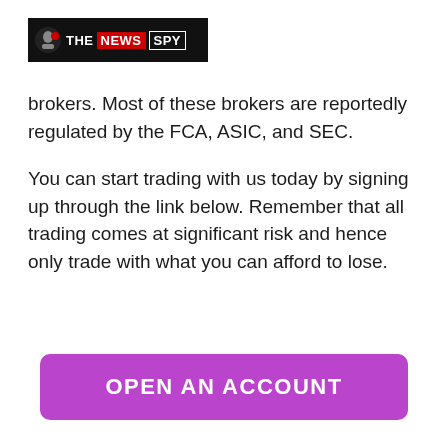THE NEWS SPY
brokers. Most of these brokers are reportedly regulated by the FCA, ASIC, and SEC.
You can start trading with us today by signing up through the link below. Remember that all trading comes at significant risk and hence only trade with what you can afford to lose.
OPEN AN ACCOUNT